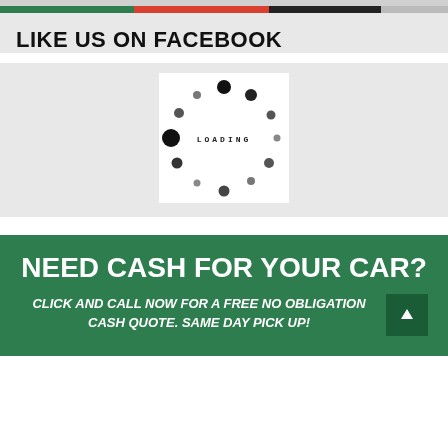LIKE US ON FACEBOOK
[Figure (illustration): A loading spinner graphic with dots arranged in a circle and the text 'LOADING' in the center, on a white background]
NEED CASH FOR YOUR CAR?
CLICK AND CALL NOW FOR A FREE NO OBLIGATION CASH QUOTE. SAME DAY PICK UP!